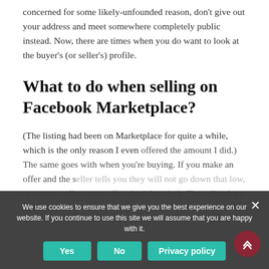concerned for some likely-unfounded reason, don't give out your address and meet somewhere completely public instead. Now, there are times when you do want to look at the buyer's (or seller's) profile.
What to do when selling on Facebook Marketplace?
(The listing had been on Marketplace for quite a while, which is the only reason I even offered the amount I did.) The same goes with when you're buying. If you make an offer and the seller tells you they will not go down that low, or counter-offers your offer, don't be a jerk. The seller does not owe
We use cookies to ensure that we give you the best experience on our website. If you continue to use this site we will assume that you are happy with it.